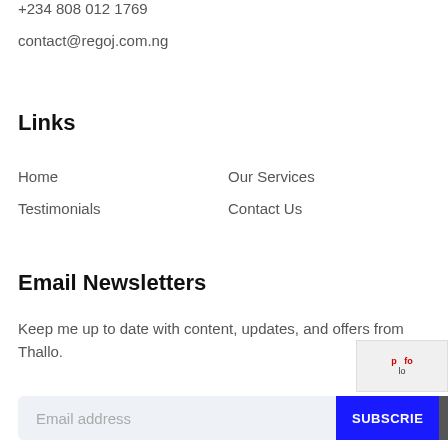+234 808 012 1769
contact@regoj.com.ng
Links
Home
Our Services
Testimonials
Contact Us
Email Newsletters
Keep me up to date with content, updates, and offers from Thallo.
Email address
SUBSCRIBE